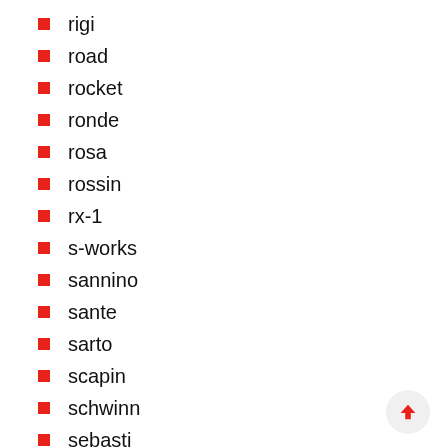rigi
road
rocket
ronde
rosa
rossin
rx-1
s-works
sannino
sante
sarto
scapin
schwinn
sebasti
serotta
shake